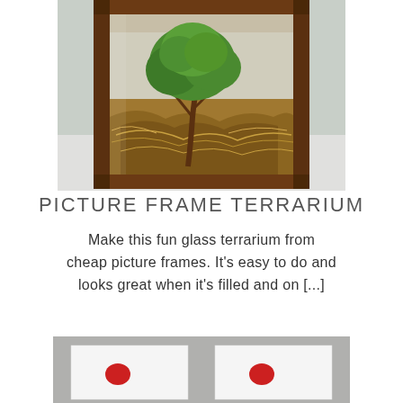[Figure (photo): A glass terrarium made from a wooden-framed picture frame, containing a small green plant and dried grass/moss material inside, viewed from the front.]
PICTURE FRAME TERRARIUM
Make this fun glass terrarium from cheap picture frames. It's easy to do and looks great when it's filled and on [...]
[Figure (photo): Two white cards with small red elements on a gray surface, partially visible at the bottom of the page.]